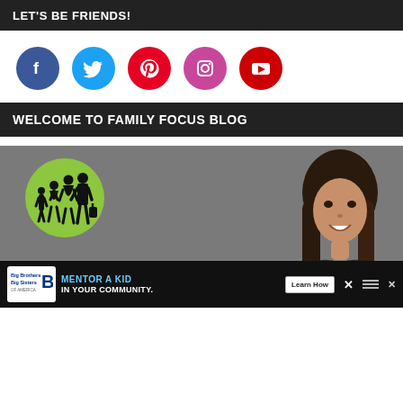LET'S BE FRIENDS!
[Figure (infographic): Row of five social media icons (circles): Facebook (blue), Twitter (cyan), Pinterest (red), Instagram (pink/magenta), YouTube (red)]
WELCOME TO FAMILY FOCUS BLOG
[Figure (photo): Photo of a smiling woman with long brown hair against a gray background, with a lime green circle logo showing a family silhouette on the left side]
[Figure (infographic): Advertisement bar: Big Brothers Big Sisters logo, text 'MENTOR A KID IN YOUR COMMUNITY.', 'Learn How' button]